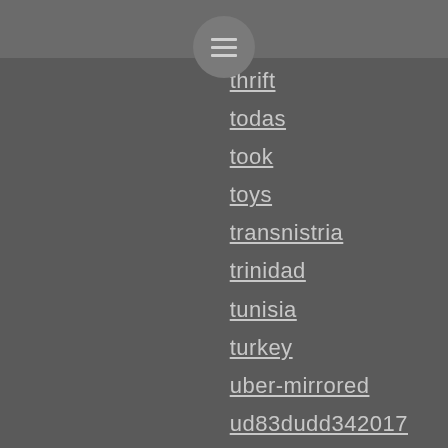thrift
todas
took
toys
transnistria
trinidad
tunisia
turkey
uber-mirrored
ud83dudd342017
ukraine
ulation
unboxing
united
unwrapping